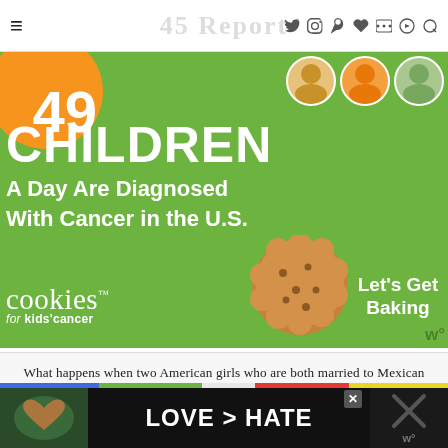≡ [site logo] ♦ social icons: twitter, facebook, instagram, pinterest, heart, rss, search
[Figure (infographic): Green advertisement banner: '49 CHILDREN A Day Are Diagnosed With Cancer in the U.S.' with cookies for kids' cancer logo and 'Let's Get Baking' text, cookie graphic, children photos top right]
What happens when two American girls who are both married to Mexican guys find out that although one of them lives in the U.S. and one of them lives in Mexico, they both love eating the same food?  Well, naturally they decide to get "together" the only way they can and cook up the s
[Figure (infographic): Bottom advertisement bar: colored stripe, 'LOVE > HATE' in white text on dark background, hands forming heart photo on left, X marks on right, close button]